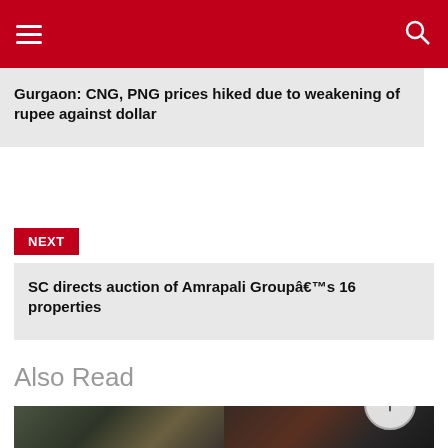Navigation header with menu and search icons
Gurgaon: CNG, PNG prices hiked due to weakening of rupee against dollar
NEXT
SC directs auction of Amrapali Groupâ€™s 16 properties
Also Read
[Figure (photo): Two dark photographs side by side showing objects in a vehicle interior]